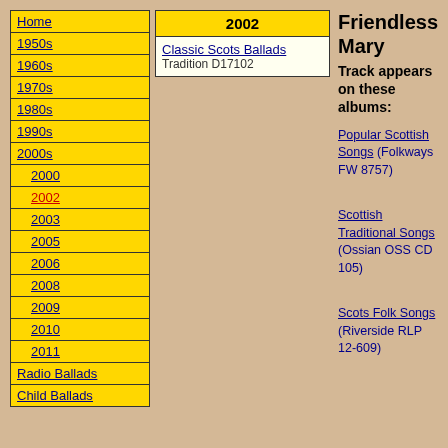Home
1950s
1960s
1970s
1980s
1990s
2000s
2000
2002
2003
2005
2006
2008
2009
2010
2011
Radio Ballads
Child Ballads
2002
| Classic Scots Ballads | Tradition D17102 |
Friendless Mary
Track appears on these albums:
Popular Scottish Songs (Folkways FW 8757)
Scottish Traditional Songs (Ossian OSS CD 105)
Scots Folk Songs (Riverside RLP 12-609)